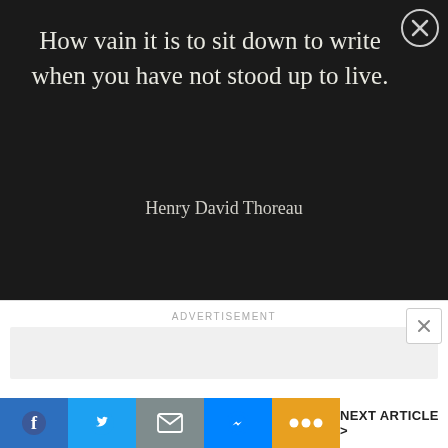How vain it is to sit down to write when you have not stood up to live.
Henry David Thoreau
ADVERTISEMENT
NEXT ARTICLE >